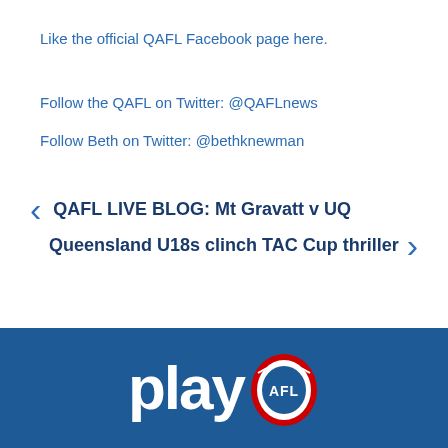Like the official QAFL Facebook page here.
Follow the QAFL on Twitter: @QAFLnews
Follow Beth on Twitter: @bethknewman
< QAFL LIVE BLOG: Mt Gravatt v UQ
Queensland U18s clinch TAC Cup thriller >
[Figure (logo): Play AFL logo on dark blue banner background, showing 'play' text in white bold letters alongside the AFL circular badge in red, white and blue.]